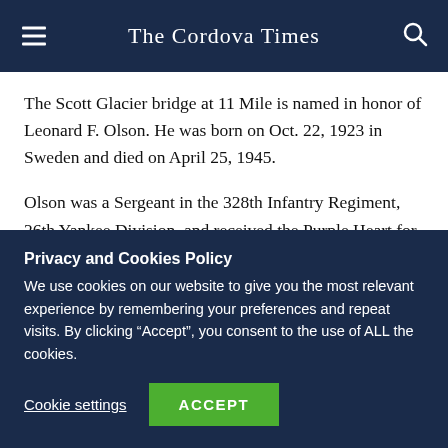The Cordova Times
The Scott Glacier bridge at 11 Mile is named in honor of Leonard F. Olson. He was born on Oct. 22, 1923 in Sweden and died on April 25, 1945.
Olson was a Sergeant in the 328th Infantry Regiment, 26th Yankee Division, and received the Purple Heart for wounds received in France in December 1944. He was also wounded in Luxembourg on Jan. 6, 1945, and received the Oak Leaf...
Privacy and Cookies Policy
We use cookies on our website to give you the most relevant experience by remembering your preferences and repeat visits. By clicking “Accept”, you consent to the use of ALL the cookies.
Cookie settings   ACCEPT